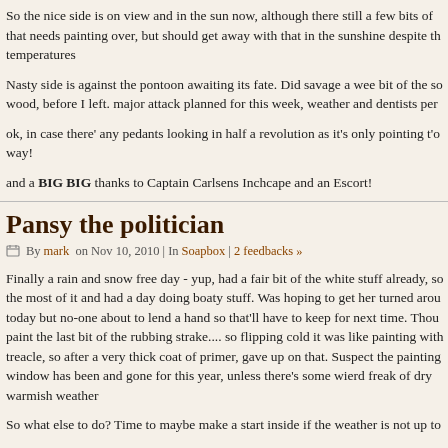So the nice side is on view and in the sun now, although there still a few bits of that needs painting over, but should get away with that in the sunshine despite th temperatures
Nasty side is against the pontoon awaiting its fate. Did savage a wee bit of the so wood, before I left. major attack planned for this week, weather and dentists per
ok, in case there' any pedants looking in half a revolution as it's only pointing t'o way!
and a BIG BIG thanks to Captain Carlsens Inchcape and an Escort!
Pansy the politician
By mark on Nov 10, 2010 | In Soapbox | 2 feedbacks »
Finally a rain and snow free day - yup, had a fair bit of the white stuff already, so the most of it and had a day doing boaty stuff. Was hoping to get her turned arou today but no-one about to lend a hand so that'll have to keep for next time. Thou paint the last bit of the rubbing strake.... so flipping cold it was like painting with treacle, so after a very thick coat of primer, gave up on that. Suspect the painting window has been and gone for this year, unless there's some wierd freak of dry warmish weather
So what else to do? Time to maybe make a start inside if the weather is not up to